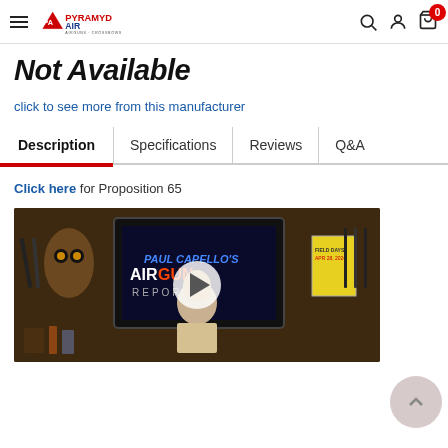Pyramyd Air - Airguns + Crossbows navigation header
Not Available
click to see more from this manufacturer
Description | Specifications | Reviews | Q&A
Click here for Proposition 65
[Figure (screenshot): Video thumbnail showing a man in a beige shirt standing in front of a TV screen displaying 'Paul Capello's Airgun Reporter' logo, with guns and equipment in the background. A play button overlay is visible.]